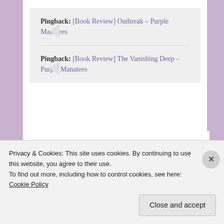Pingback: [Book Review] Outbreak – Purple Manatees
Pingback: [Book Review] The Vanishing Deep – Purple Manatees
Leave a Reply
Your email address will not be published. Required fields are marked
Privacy & Cookies: This site uses cookies. By continuing to use this website, you agree to their use.
To find out more, including how to control cookies, see here: Cookie Policy